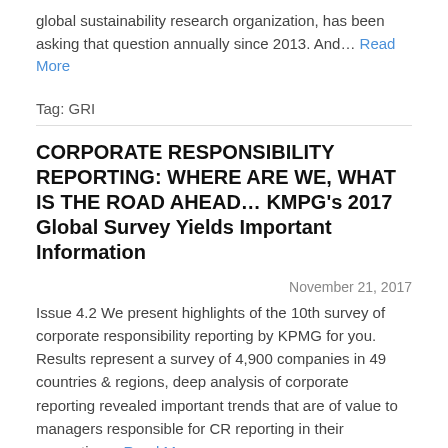global sustainability research organization, has been asking that question annually since 2013.  And… Read More
Tag: GRI
CORPORATE RESPONSIBILITY REPORTING: WHERE ARE WE, WHAT IS THE ROAD AHEAD… KMPG's 2017 Global Survey Yields Important Information
November 21, 2017
Issue 4.2 We present highlights of the 10th survey of corporate responsibility reporting by KPMG for you.  Results represent a survey of 4,900 companies in 49 countries & regions,  deep analysis of corporate reporting revealed important trends that are of value to managers responsible for CR reporting in their respective… Read More
Tag: GRI